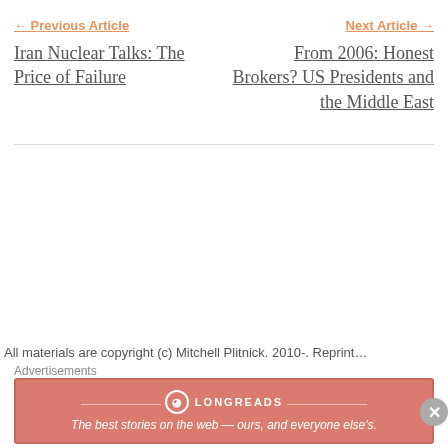← Previous Article
Iran Nuclear Talks: The Price of Failure
Next Article →
From 2006: Honest Brokers? US Presidents and the Middle East
All materials are copyright (c) Mitchell Plitnick. 2010-. Reprint...
Advertisements
[Figure (other): Longreads advertisement banner: 'The best stories on the web — ours, and everyone else's.']